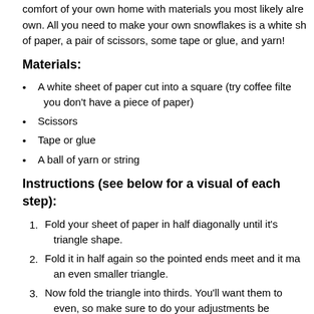comfort of your own home with materials you most likely already own. All you need to make your own snowflakes is a white sheet of paper, a pair of scissors, some tape or glue, and yarn!
Materials:
A white sheet of paper cut into a square (try coffee filters if you don't have a piece of paper)
Scissors
Tape or glue
A ball of yarn or string
Instructions (see below for a visual of each step):
Fold your sheet of paper in half diagonally until it's a triangle shape.
Fold it in half again so the pointed ends meet and it makes an even smaller triangle.
Now fold the triangle into thirds. You'll want them to be even, so make sure to do your adjustments before creating the creases.